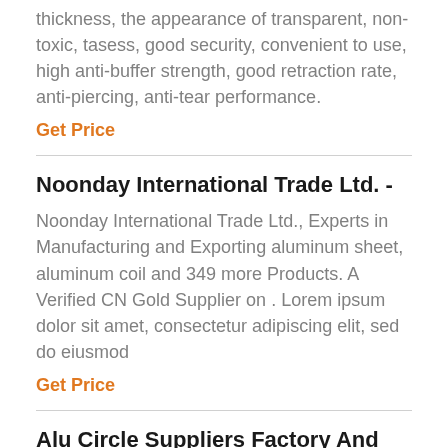thickness, the appearance of transparent, non-toxic, tasess, good security, convenient to use, high anti-buffer strength, good retraction rate, anti-piercing, anti-tear performance.
Get Price
Noonday International Trade Ltd. -
Noonday International Trade Ltd., Experts in Manufacturing and Exporting aluminum sheet, aluminum coil and 349 more Products. A Verified CN Gold Supplier on . Lorem ipsum dolor sit amet, consectetur adipiscing elit, sed do eiusmod
Get Price
Alu Circle Suppliers Factory And
Haomei Aluminum is a large modern aluminum processing enterprise that integrates processing, manufacturing, and